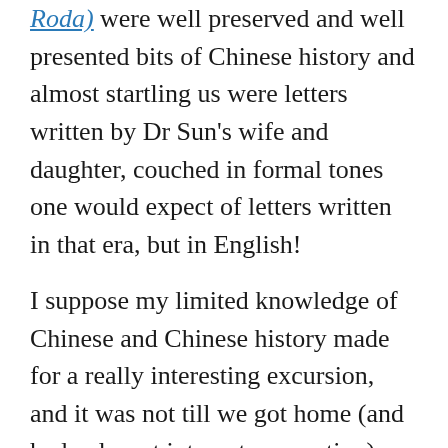Roda) were well preserved and well presented bits of Chinese history and almost startling us were letters written by Dr Sun's wife and daughter, couched in formal tones one would expect of letters written in that era, but in English!
I suppose my limited knowledge of Chinese and Chinese history made for a really interesting excursion, and it was not till we got home (and had a decent internet connection) that I learned more about Dr Sun, and in particular, why he had so many different names.
Prior to this Shanghai trip, all I knew of Dr Sun was that he something like founded modern China, had many houses all over the world